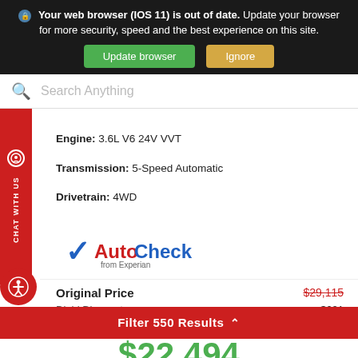[Figure (screenshot): Browser out-of-date warning banner with 'Update browser' green button and 'Ignore' tan button on dark background]
Search Anything
Engine: 3.6L V6 24V VVT
Transmission: 5-Speed Automatic
Drivetrain: 4WD
[Figure (logo): AutoCheck from Experian logo with blue checkmark and red 'Auto' text]
Original Price
Diehl Discount
$29,115
$621
DIEHL PRICE
$22,494
Filter 550 Results